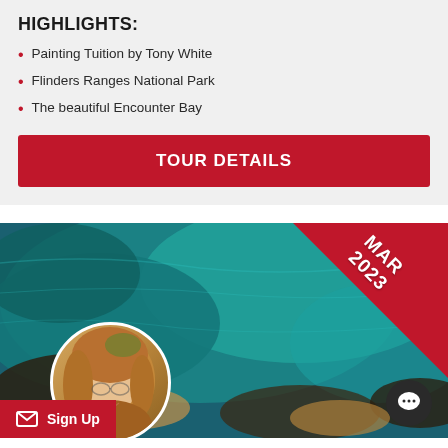HIGHLIGHTS:
Painting Tuition by Tony White
Flinders Ranges National Park
The beautiful Encounter Bay
TOUR DETAILS
[Figure (photo): Aerial photo of turquoise ocean/bay with a circular portrait of a woman with blonde hair overlaid at the bottom left, a red triangular corner banner reading MAR 2023 at top right, a red Sign Up button at bottom left, and a dark chat bubble icon at bottom right.]